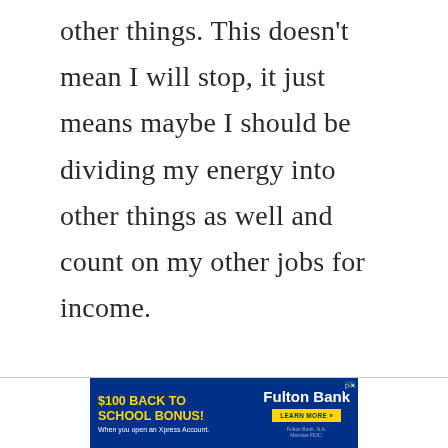other things. This doesn't mean I will stop, it just means maybe I should be dividing my energy into other things as well and count on my other jobs for income.
[Figure (other): Advertisement banner for Fulton Bank offering a $100 Back to School Bonus when opening an Xpress Account. Features Fulton Bank logo and a 'Learn More' button.]